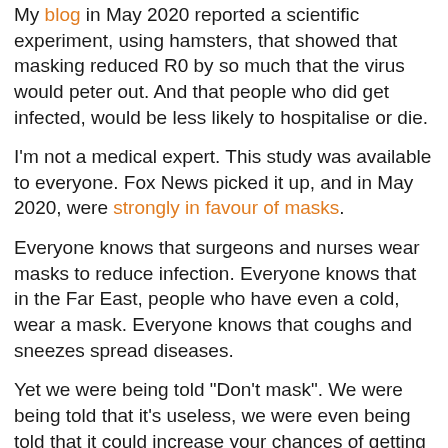My blog in May 2020 reported a scientific experiment, using hamsters, that showed that masking reduced R0 by so much that the virus would peter out. And that people who did get infected, would be less likely to hospitalise or die.
I'm not a medical expert. This study was available to everyone. Fox News picked it up, and in May 2020, were strongly in favour of masks.
Everyone knows that surgeons and nurses wear masks to reduce infection. Everyone knows that in the Far East, people who have even a cold, wear a mask. Everyone knows that coughs and sneezes spread diseases.
Yet we were being told "Don't mask". We were being told that it's useless, we were even being told that it could increase your chances of getting Covid. The official excuse was that they were trying to preserve the limited stocks of N95 masks for healthcare workers. But that doesn't wash - it's easy to make a cloth mask, and paper masks were readily available. No, our oven-ready government (and that in the USA) was advising against masking, because reasons. Maybe they should have been honest, if lack of N95 masks was the